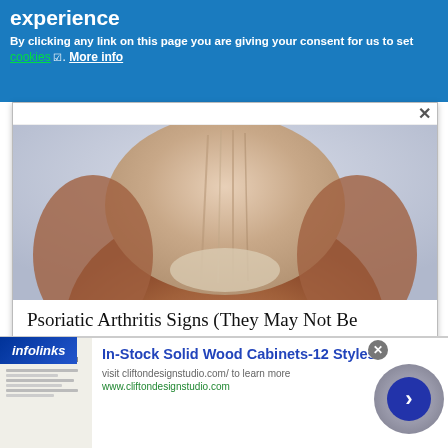experience
By clicking any link on this page you are giving your consent for us to set
cookies. More info
[Figure (photo): Close-up photo of a human fingernail showing ridges and discoloration, associated with Psoriatic Arthritis Signs]
Psoriatic Arthritis Signs (They May Not Be Common
Ad by Arthritis | Sponsored Links
infolinks
In-Stock Solid Wood Cabinets-12 Styles!
visit cliftondesignstudio.com/ to learn more
www.cliftondesignstudio.com